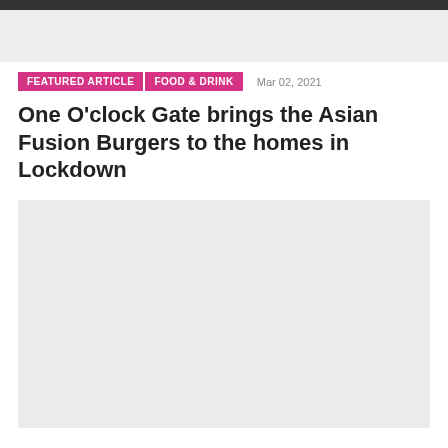[Figure (photo): Hero image placeholder at top of article page, light gray background]
FEATURED ARTICLE   FOOD & DRINK   Mar 02, 2021
One O'clock Gate brings the Asian Fusion Burgers to the homes in Lockdown
[Figure (photo): Large article main image placeholder, light gray background]